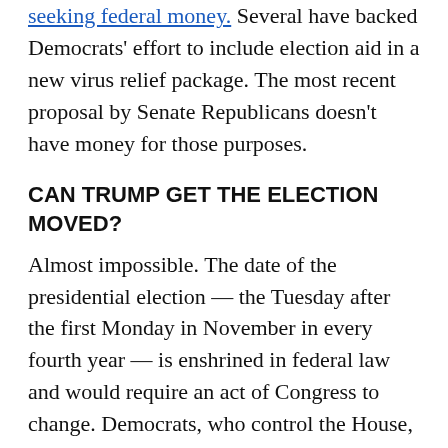seeking federal money. Several have backed Democrats' effort to include election aid in a new virus relief package. The most recent proposal by Senate Republicans doesn't have money for those purposes.
CAN TRUMP GET THE ELECTION MOVED?
Almost impossible. The date of the presidential election — the Tuesday after the first Monday in November in every fourth year — is enshrined in federal law and would require an act of Congress to change. Democrats, who control the House, will not support Trump on this. It appears Republicans won't, either.
Senate Majority Leader Mitch McConnell, R-Ky., said after Trump's tweets Thursday that Election Day is set in stone. Other top Republicans were similarly dismissive.